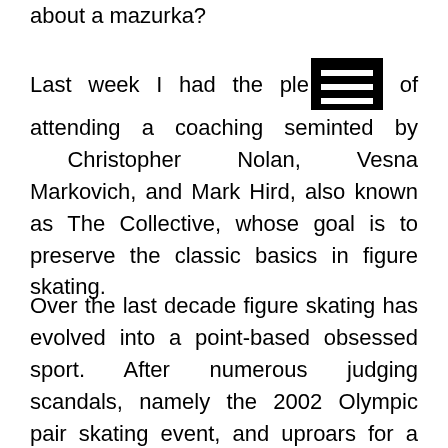about a mazurka?
Last week I had the pleasure of attending a coaching seminar presented by Christopher Nolan, Vesna Markovich, and Mark Hird, also known as The Collective, whose goal is to preserve the classic basics in figure skating.
Over the last decade figure skating has evolved into a point-based obsessed sport. After numerous judging scandals, namely the 2002 Olympic pair skating event, and uproars for a fairer marking method, the sport opted for a less subjective point-based system rather than the previous and simpler form of giving the skater two